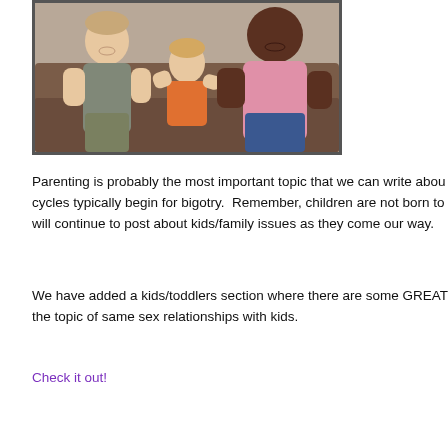[Figure (photo): Photo of two adult men and a toddler sitting together on a couch, smiling. One man wears a grey t-shirt, the other a pink polo shirt. The child is wearing an orange outfit.]
Parenting is probably the most important topic that we can write about cycles typically begin for bigotry. Remember, children are not born to will continue to post about kids/family issues as they come our way.
We have added a kids/toddlers section where there are some GREAT the topic of same sex relationships with kids.
Check it out!